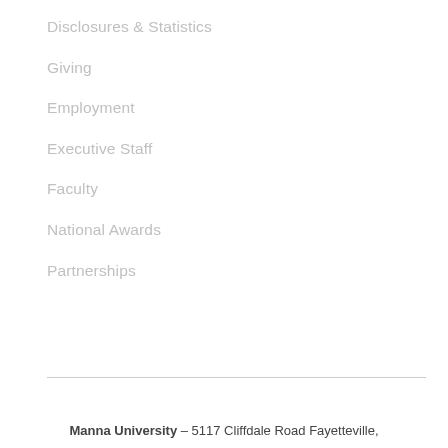Disclosures & Statistics
Giving
Employment
Executive Staff
Faculty
National Awards
Partnerships
Manna University – 5117 Cliffdale Road Fayetteville,